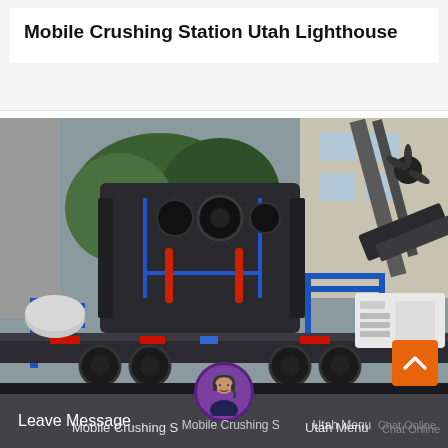Mobile Crushing Station Utah Lighthouse
[Figure (photo): Mobile crushing station machine mounted on a wheeled trailer, showing a large dark-grey jaw/impact crusher with blue metal railings and red hydraulic components, parked in an industrial yard with trees and a building in the background.]
Leave Message   Mobile Crushing Station Utah Menu   Chat Online